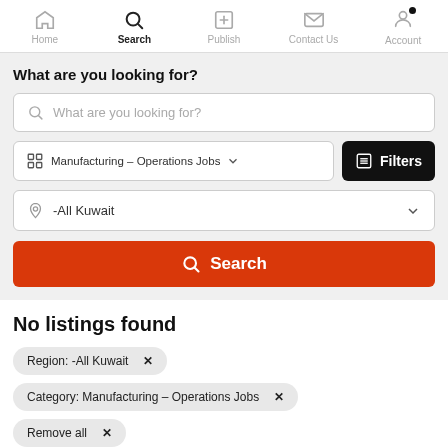Home | Search | Publish | Contact Us | Account
What are you looking for?
What are you looking for? [search input]
Manufacturing - Operations Jobs [category dropdown]
Filters
-All Kuwait [location dropdown]
Search
No listings found
Region: -All Kuwait ×
Category: Manufacturing - Operations Jobs ×
Remove all ×